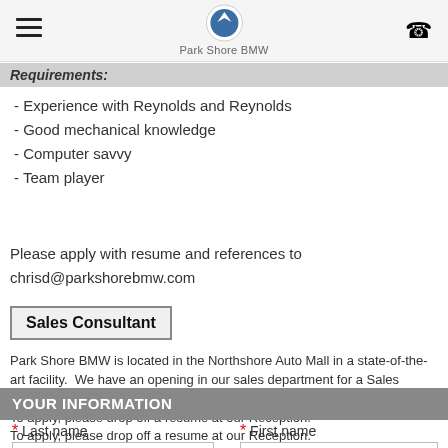Park Shore BMW
Requirements:
- Experience with Reynolds and Reynolds
- Good mechanical knowledge
- Computer savvy
- Team player
Please apply with resume and references to chrisd@parkshorebmw.com
Sales Consultant
Park Shore BMW is located in the Northshore Auto Mall in a state-of-the-art facility.  We have an opening in our sales department for a Sales Consultant. Excellent Benefit package and demo allowance.
To apply, please drop off a resume at our Reception.
To apply, please drop off a resume at our Reception.
YOUR INFORMATION
* Last name
* First name